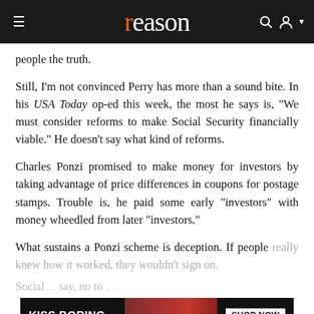reason
people the truth.
Still, I'm not convinced Perry has more than a sound bite. In his USA Today op-ed this week, the most he says is, "We must consider reforms to make Social Security financially viable." He doesn't say what kind of reforms.
Charles Ponzi promised to make money for investors by taking advantage of price differences in coupons for postage stamps. Trouble is, he paid some early "investors" with money wheedled from later "investors."
What sustains a Ponzi scheme is deception. If people really knew how it worked, they wouldn't sign on.
[Figure (other): Advertisement banner: KISS BORING LIPS GOODBYE with a woman's lips image and SHOP NOW / macy's button]
Social ... say, no to ... government. Not if you want to stay out of prison.